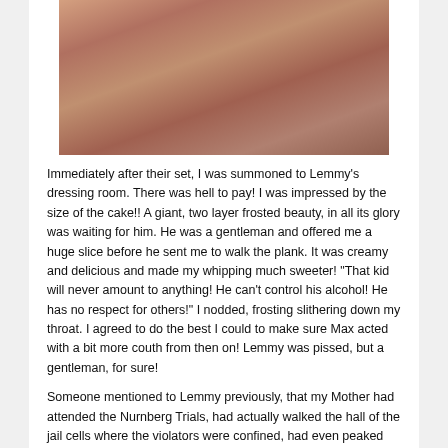[Figure (photo): Black and white or warm-toned photo of several shirtless people with long hair, appearing to be rock musicians, standing together.]
Immediately after their set, I was summoned to Lemmy's dressing room. There was hell to pay!  I was impressed by the size of the cake!!  A giant, two layer frosted beauty, in all its glory was waiting for him.  He was a gentleman and offered me a huge slice before he sent me to walk the plank.  It was creamy and delicious and made my whipping much sweeter! "That kid will never amount to anything!  He can't control his alcohol! He has no respect for others!"  I nodded, frosting slithering down my throat.  I agreed to do the best I could to make sure Max acted with a bit more couth from then on!  Lemmy was pissed, but a gentleman, for sure!
Someone mentioned to Lemmy previously, that my Mother had attended the Nurnberg Trials, had actually walked the hall of the jail cells where the violators were confined, had even peaked into Goerring's cell and miraculously survived a concentration camp. Lemmy was really interested in German WW2 history and invited me to visit historic locations in